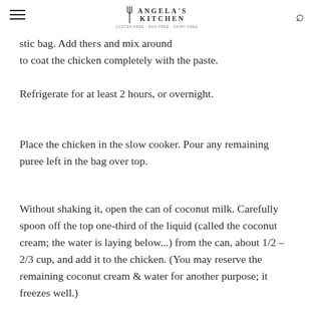Angela's Kitchen
stic bag. Add the ers and mix around to coat the chicken completely with the paste.
Refrigerate for at least 2 hours, or overnight.
Place the chicken in the slow cooker. Pour any remaining puree left in the bag over top.
Without shaking it, open the can of coconut milk. Carefully spoon off the top one-third of the liquid (called the coconut cream; the water is laying below...) from the can, about 1/2 – 2/3 cup, and add it to the chicken. (You may reserve the remaining coconut cream & water for another purpose; it freezes well.)